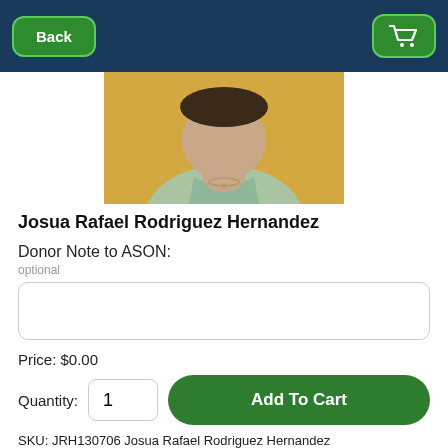[Figure (screenshot): Mobile app screenshot showing a product detail page for a charity/sponsorship platform with navigation header, photo, form fields, and purchase controls]
Josua Rafael Rodriguez Hernandez
Donor Note to ASON:
optional
Price: $0.00
Quantity: 1
Add To Cart
SKU: JRH130706 Josua Rafael Rodriguez Hernandez
Save